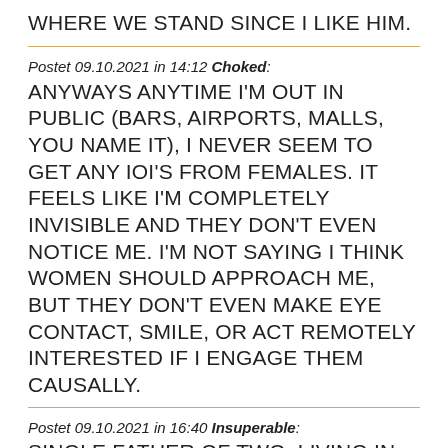WHERE WE STAND SINCE I LIKE HIM.
Postet 09.10.2021 in 14:12 Choked: ANYWAYS ANYTIME I'M OUT IN PUBLIC (BARS, AIRPORTS, MALLS, YOU NAME IT), I NEVER SEEM TO GET ANY IOI'S FROM FEMALES. IT FEELS LIKE I'M COMPLETELY INVISIBLE AND THEY DON'T EVEN NOTICE ME. I'M NOT SAYING I THINK WOMEN SHOULD APPROACH ME, BUT THEY DON'T EVEN MAKE EYE CONTACT, SMILE, OR ACT REMOTELY INTERESTED IF I ENGAGE THEM CAUSALLY.
Postet 09.10.2021 in 16:40 Insuperable: SINGLE FATHER OF TWO. LIVING IN SOUTH LOUISIANA AND CURRENTLY WORK OFFSORE. I ENJOY TRAVEL,DINING